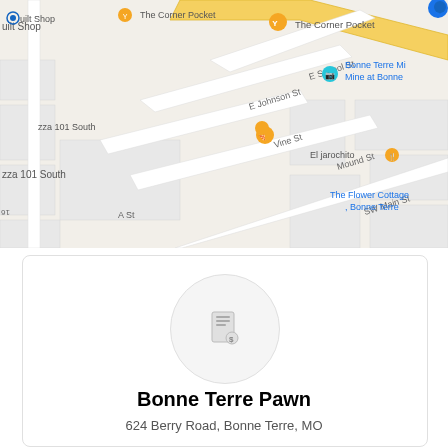[Figure (map): Google Maps view of Bonne Terre, MO area showing streets including E School St, E Johnson St, Vine St, Mound St, SW Main St, A St, Fite St, and nearby points of interest including The Corner Pocket, Bonne Terre Mine, El jarochito, The Flower Cottage Bonne Terre, Pizza 101 South, and a quilt shop.]
Bonne Terre Pawn
624 Berry Road, Bonne Terre, MO